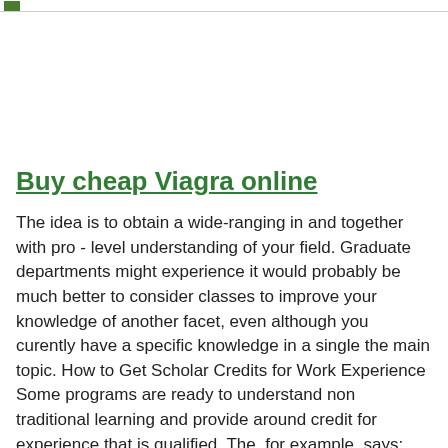Buy cheap Viagra online
The idea is to obtain a wide-ranging in and together with pro - level understanding of your field. Graduate departments might experience it would probably be much better to consider classes to improve your knowledge of another facet, even although you curently have a specific knowledge in a single the main topic. How to Get Scholar Credits for Work Experience Some programs are ready to understand non traditional learning and provide around credit for experience that is qualified. The, for example, says: “you might acquire up-to… 50% of the graduate levels from the mixture of life experience